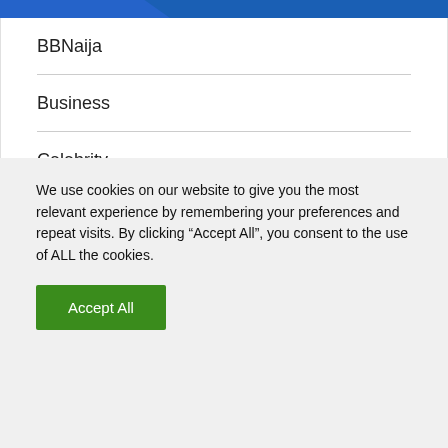BBNaija
Business
Celebrity
Economy
Education
We use cookies on our website to give you the most relevant experience by remembering your preferences and repeat visits. By clicking “Accept All”, you consent to the use of ALL the cookies.
Accept All